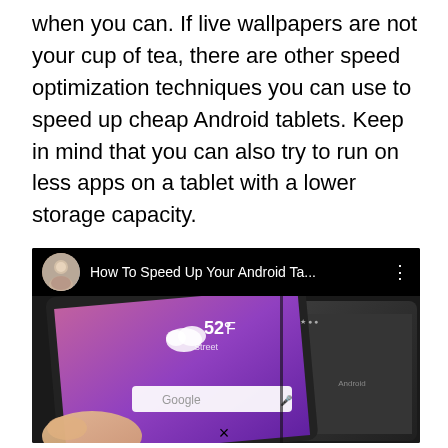when you can. If live wallpapers are not your cup of tea, there are other speed optimization techniques you can use to speed up cheap Android tablets. Keep in mind that you can also try to run on less apps on a tablet with a lower storage capacity.
[Figure (screenshot): YouTube-style video card with dark header showing a profile avatar, title 'How To Speed Up Your Android Ta...' with three-dot menu, and a thumbnail showing Android tablets with a home screen displaying weather (52°F), a cloud icon, and a Google search bar.]
×